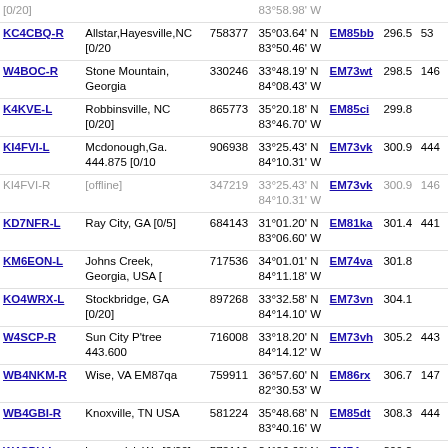| Callsign | Location | Node | Coordinates | Grid | Dist | Freq |
| --- | --- | --- | --- | --- | --- | --- |
| [0/20] |  |  | 83°58.98' W |  |  |  |
| KC4CBQ-R | Allstar,Hayesville,NC [0/20 | 758377 | 35°03.64' N 83°50.46' W | EM85bb | 296.5 | 53 |
| W4BOC-R | Stone Mountain, Georgia | 330246 | 33°48.19' N 84°08.43' W | EM73wt | 298.5 | 146 |
| K4KVE-L | Robbinsville, NC [0/20] | 865773 | 35°20.18' N 83°46.70' W | EM85ci | 299.8 |  |
| KI4FVI-L | Mcdonough,Ga. 444.875 [0/10 | 906938 | 33°25.43' N 84°10.31' W | EM73vk | 300.9 | 444 |
| KI4FVI-R | [offline] | 347219 | 33°25.43' N 84°10.31' W | EM73vk | 300.9 | 146 |
| KD7NFR-L | Ray City, GA [0/5] | 684143 | 31°01.20' N 83°06.60' W | EM81ka | 301.4 | 441 |
| KM6EON-L | Johns Creek, Georgia, USA [ | 717536 | 34°01.01' N 84°11.18' W | EM74va | 301.8 |  |
| KO4WRX-L | Stockbridge, GA [0/20] | 897268 | 33°32.58' N 84°14.10' W | EM73vn | 304.1 |  |
| W4SCP-R | Sun City P'tree 443.600 | 716008 | 33°18.20' N 84°14.12' W | EM73vh | 305.2 | 443 |
| WB4NKM-R | Wise, VA EM87qa | 759911 | 36°57.60' N 82°30.53' W | EM86rx | 306.7 | 147 |
| WB4GBI-R | Knoxville, TN USA | 581224 | 35°48.68' N 83°40.16' W | EM85dt | 308.3 | 444 |
| W4CPU-L | kennewick Wa [0/20] | 572119 | 34°06.60' N 84°18.60' W | EM74uc | 309.3 |  |
| NF4GA-L | NFARL-Roswell, GA | 889158 | 34°01.82' N 84°21.50' W | EM74ta | 311.7 | 147 |